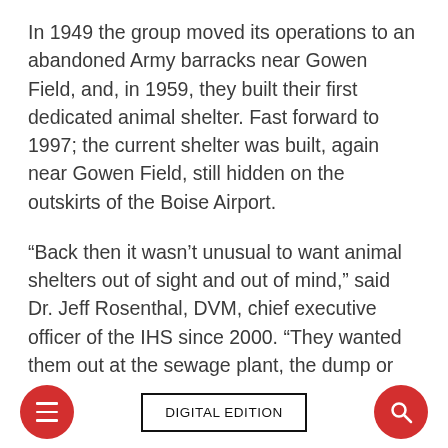In 1949 the group moved its operations to an abandoned Army barracks near Gowen Field, and, in 1959, they built their first dedicated animal shelter. Fast forward to 1997; the current shelter was built, again near Gowen Field, still hidden on the outskirts of the Boise Airport.
“Back then it wasn’t unusual to want animal shelters out of sight and out of mind,” said Dr. Jeff Rosenthal, DVM, chief executive officer of the IHS since 2000. “They wanted them out at the sewage plant, the dump or the airport, like where we are.
DIGITAL EDITION